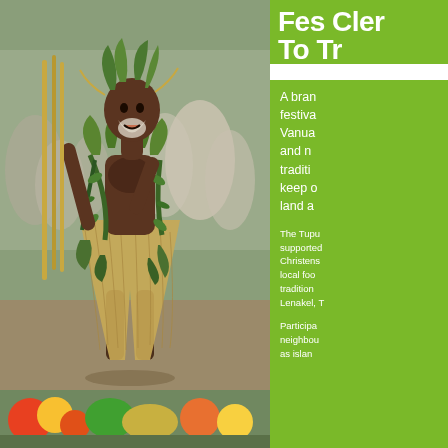Fes Cler... To Tr...
A brand new festival... Vanuatu... and n... traditio... keep o... land a...
The Tupu... supported... Christens... local foo... tradition... Lenakel, T...
Participa... neighbou... as islan...
[Figure (photo): Man in traditional Vanuatu ceremonial costume made of grass skirt and leaves, holding bamboo sticks, performing at a cultural festival. Crowd visible in background.]
[Figure (photo): Close-up of traditional food or cultural items at the festival.]